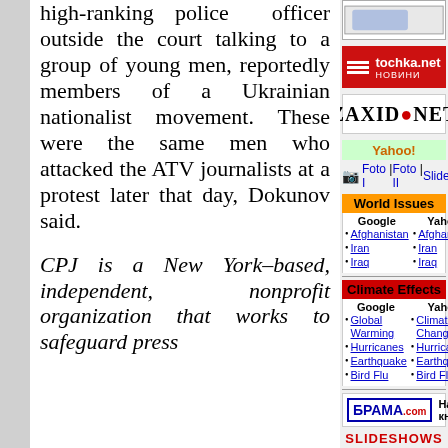high-ranking police officer outside the court talking to a group of young men, reportedly members of a Ukrainian nationalist movement. These were the same men who attacked the ATV journalists at a protest later that day, Dokunov said.
CPJ is a New York–based, independent, nonprofit organization that works to safeguard press
[Figure (logo): Top banner image, partially visible]
[Figure (logo): tochka.net news banner, red background]
[Figure (logo): ZAXID.NET banner]
Yahoo!
Foto I | Foto II | Slideshow
World Issues
Afghanistan (Google)
Afghanistan (Yahoo)
Iran (Google)
Iran (Yahoo)
Iraq (Google)
Iraq (Yahoo)
Climate Effects
Global Warming (Google)
Climate Change (Yahoo)
Hurricanes (Google)
Hurricanes (Yahoo)
Earthquake (Google)
Earthquake (Yahoo)
Bird Flu (Google)
Bird Flu (Yahoo)
[Figure (logo): БРАМА.com logo with Наша кнопка text]
SLIDESHOWS